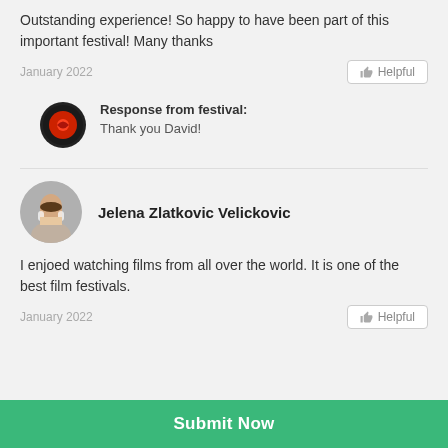Outstanding experience! So happy to have been part of this important festival! Many thanks
January 2022
Helpful
Response from festival: Thank you David!
Jelena Zlatkovic Velickovic
I enjoed watching films from all over the world. It is one of the best film festivals.
January 2022
Helpful
Submit Now